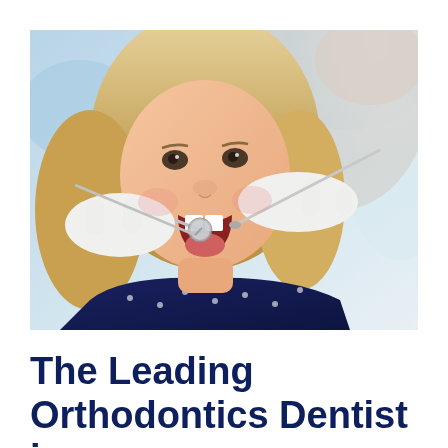[Figure (photo): A young blonde girl with her mouth open being examined by a dentist wearing white gloves holding dental instruments (mirror and probe). The child is wearing a dark navy polka-dot top. The background shows a blurred dental office setting.]
The Leading Orthodontics Dentist in